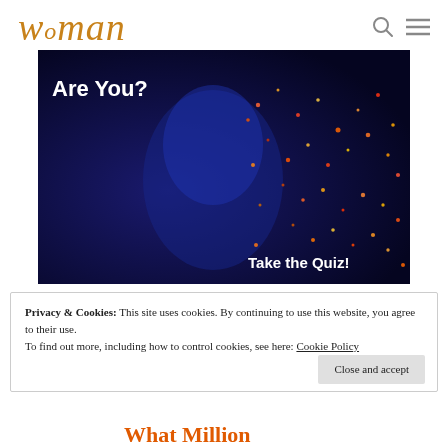woman
[Figure (photo): A woman's face lit with blue/purple light and colorful glitter sparkles on the right side. White text reads 'Are You?' in the upper left. White text reads 'Take the Quiz!' in the lower right. Dark blue background.]
Privacy & Cookies: This site uses cookies. By continuing to use this website, you agree to their use.
To find out more, including how to control cookies, see here: Cookie Policy
Close and accept
[Figure (screenshot): Partial bottom banner showing orange text beginning with 'What Million']